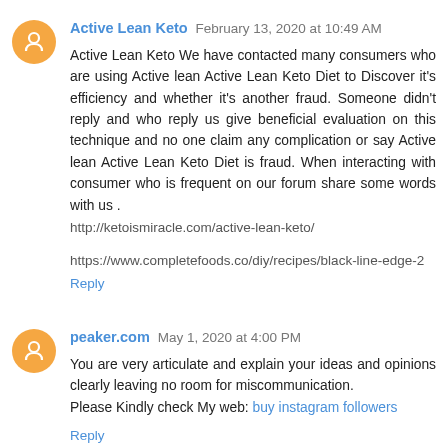Active Lean Keto February 13, 2020 at 10:49 AM
Active Lean Keto We have contacted many consumers who are using Active lean Active Lean Keto Diet to Discover it's efficiency and whether it's another fraud. Someone didn't reply and who reply us give beneficial evaluation on this technique and no one claim any complication or say Active lean Active Lean Keto Diet is fraud. When interacting with consumer who is frequent on our forum share some words with us .
http://ketoismiracle.com/active-lean-keto/

https://www.completefoods.co/diy/recipes/black-line-edge-2
Reply
peaker.com May 1, 2020 at 4:00 PM
You are very articulate and explain your ideas and opinions clearly leaving no room for miscommunication.
Please Kindly check My web: buy instagram followers
Reply